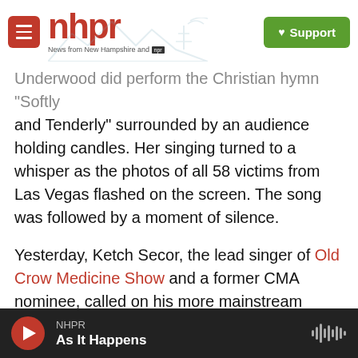nhpr — News from New Hampshire and NPR | Support
Underwood did perform the Christian hymn "Softly and Tenderly" surrounded by an audience holding candles. Her singing turned to a whisper as the photos of all 58 victims from Las Vegas flashed on the screen. The song was followed by a moment of silence.
Yesterday, Ketch Secor, the lead singer of Old Crow Medicine Show and a former CMA nominee, called on his more mainstream brothers and sisters to speak up.
"You have to be made of iron to not look at Las Vegas and think something has got to change."
NHPR — As It Happens